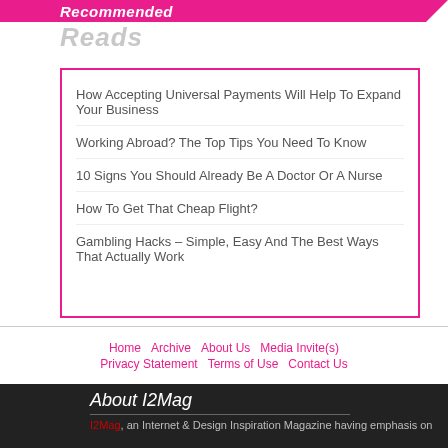Recommended Reads
How Accepting Universal Payments Will Help To Expand Your Business
Working Abroad? The Top Tips You Need To Know
10 Signs You Should Already Be A Doctor Or A Nurse
How To Get That Cheap Flight?
Gambling Hacks – Simple, Easy And The Best Ways That Actually Work
Home  Archive  About Us  Media Invite(s)  Privacy Statement  Terms of Use  Contact Us
About I2Mag
I2Mag, an Internet & Design Inspiration Magazine having emphasis on